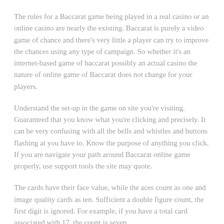The rules for a Baccarat game being played in a real casino or an online casino are nearly the existing. Baccarat is purely a video game of chance and there's very little a player can try to improve the chances using any type of campaign. So whether it's an internet-based game of baccarat possibly an actual casino the nature of online game of Baccarat does not change for your players.
Understand the set-up in the game on site you're visiting. Guaranteed that you know what you're clicking and precisely. It can be very confusing with all the bells and whistles and buttons flashing at you have to. Know the purpose of anything you click. If you are navigate your path around Baccarat online game properly, use support tools the site may quote.
The cards have their face value, while the aces count as one and image quality cards as ten. Sufficient a double figure count, the first digit is ignored. For example, if you have a total card associated with 17, the count is seven.